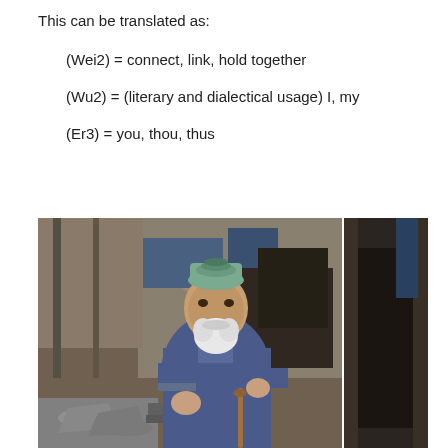This can be translated as:
(Wei2) = connect, link, hold together
(Wu2) = (literary and dialectical usage) I, my
(Er3) = you, thou, thus
[Figure (photo): An elderly man wearing a traditional embroidered cap and blue jacket, smiling and holding a cane, seated outdoors in what appears to be a market or street scene. To the right is a partial view of another street scene with a dark doorway.]